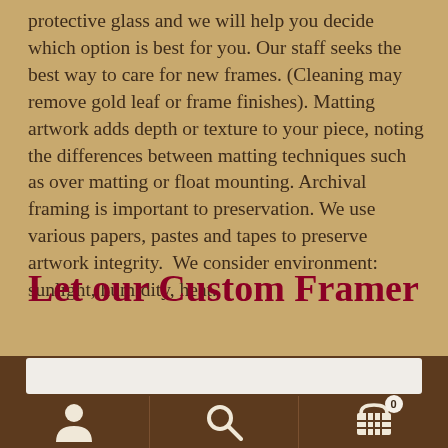protective glass and we will help you decide which option is best for you. Our staff seeks the best way to care for new frames. (Cleaning may remove gold leaf or frame finishes). Matting artwork adds depth or texture to your piece, noting the differences between matting techniques such as over matting or float mounting. Archival framing is important to preservation. We use various papers, pastes and tapes to preserve artwork integrity.  We consider environment: sunlight, humidity, heat.
Let our Custom Framer
[Figure (screenshot): Mobile website footer with dark brown background containing a search input bar and three icon buttons: user/person icon, search/magnifying glass icon, and shopping cart icon with badge showing 0]